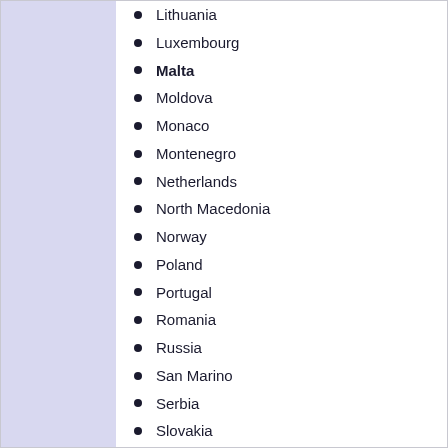Lithuania
Luxembourg
Malta
Moldova
Monaco
Montenegro
Netherlands
North Macedonia
Norway
Poland
Portugal
Romania
Russia
San Marino
Serbia
Slovakia
Slovenia
Spain